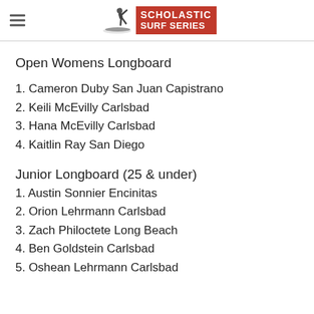Scholastic Surf Series
Open Womens Longboard
1. Cameron Duby San Juan Capistrano
2. Keili McEvilly Carlsbad
3. Hana McEvilly Carlsbad
4. Kaitlin Ray San Diego
Junior Longboard (25 & under)
1. Austin Sonnier Encinitas
2. Orion Lehrmann Carlsbad
3. Zach Philoctete Long Beach
4. Ben Goldstein Carlsbad
5. Oshean Lehrmann Carlsbad